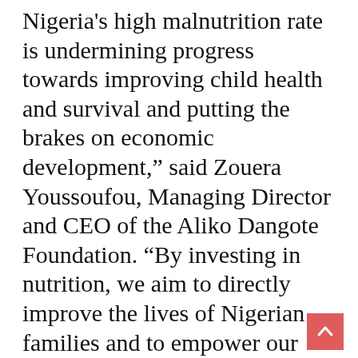Nigeria's high malnutrition rate is undermining progress towards improving child health and survival and putting the brakes on economic development,” said Zouera Youssoufou, Managing Director and CEO of the Aliko Dangote Foundation. “By investing in nutrition, we aim to directly improve the lives of Nigerian families and to empower our citizens to reach their full potential.”